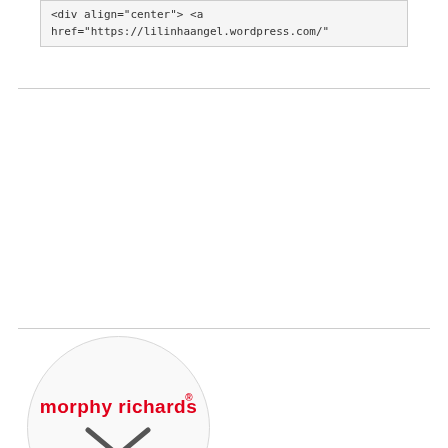<div align="center"> <a href="https://lilinhaangel.wordpress.com/"
[Figure (logo): Morphy Richards brand logo inside a circular badge with the brand name in red and two crossed lines beneath]